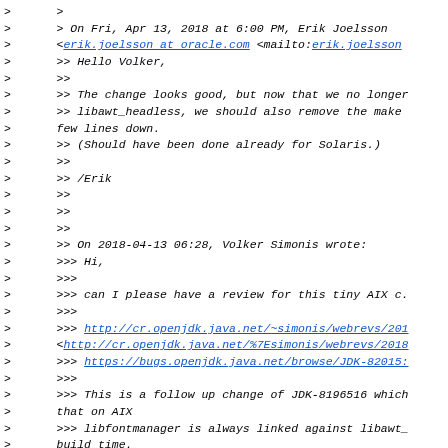> > On Fri, Apr 13, 2018 at 6:00 PM, Erik Joelsson <erik.joelsson at oracle.com <mailto:erik.joelsson
>> Hello Volker,
>>
>> The change looks good, but now that we no longer
>> libawt_headless, we should also remove the make
>> few lines down.
>> (Should have been done already for Solaris.)
>>
>> /Erik
>>
>>
>>
>> On 2018-04-13 06:28, Volker Simonis wrote:
>>> Hi,
>>>
>>> can I please have a review for this tiny AIX c.
>>>
>>> http://cr.openjdk.java.net/~simonis/webrevs/201
    <http://cr.openjdk.java.net/%7Esimonis/webrevs/2018
>>> https://bugs.openjdk.java.net/browse/JDK-82015:
>>>
>>> This is a follow up change of JDK-8196516 which
>>> that on AIX
>>> libfontmanager is always linked against libawt_
>>> build time.
>>> If we are running in a headfull environment, li
>>> dynamically load libawt_xawt which is not good
>>> libawt_headless